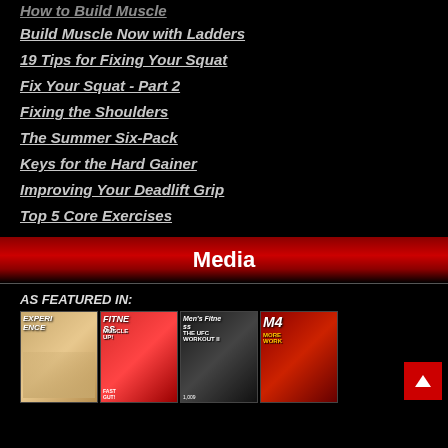How to Build Muscle (partial, top of page)
Build Muscle Now with Ladders
19 Tips for Fixing Your Squat
Fix Your Squat - Part 2
Fixing the Shoulders
The Summer Six-Pack
Keys for the Hard Gainer
Improving Your Deadlift Grip
Top 5 Core Exercises
Media
AS FEATURED IN:
[Figure (photo): Row of fitness magazine covers including Experience, Fitness, Men's Fitness, and Muscle & Fitness]